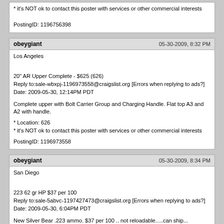* it's NOT ok to contact this poster with services or other commercial interests

PostingID: 1196756398
obeygiant   05-30-2009, 8:32 PM
Los Angeles

20" AR Upper Complete - $625 (626)
Reply to:sale-wbxpj-1196973558@craigslist.org [Errors when replying to ads?]
Date: 2009-05-30, 12:14PM PDT

Complete upper with Bolt Carrier Group and Charging Handle. Flat top A3 and A2 with handle.

* Location: 626
* it's NOT ok to contact this poster with services or other commercial interests

PostingID: 1196973558
obeygiant   05-30-2009, 8:34 PM
San Diego

223 62 gr HP $37 per 100
Reply to:sale-5abvc-1197427473@craigslist.org [Errors when replying to ads?]
Date: 2009-05-30, 6:04PM PDT

New Silver Bear .223 ammo. $37 per 100 .. not reloadable.....can ship... cheap.... I have more ...
760-945-9503...... bdrouch@gmail.com Bill

* it's NOT ok to contact this poster with services or other commercial interests